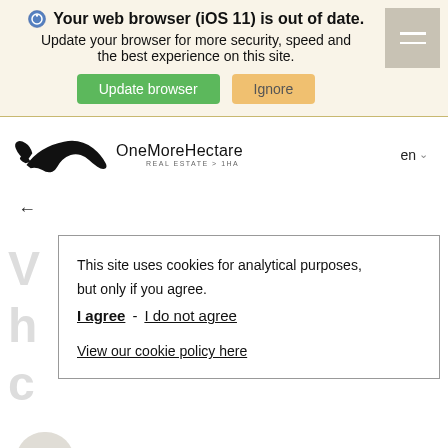Your web browser (iOS 11) is out of date. Update your browser for more security, speed and the best experience on this site.
Update browser   Ignore
[Figure (logo): OneMoreHectare eagle logo with text 'OneMoreHectare REAL ESTATE > 1HA' and language selector 'en']
←
This site uses cookies for analytical purposes, but only if you agree.
I agree  -  I do not agree
View our cookie policy here